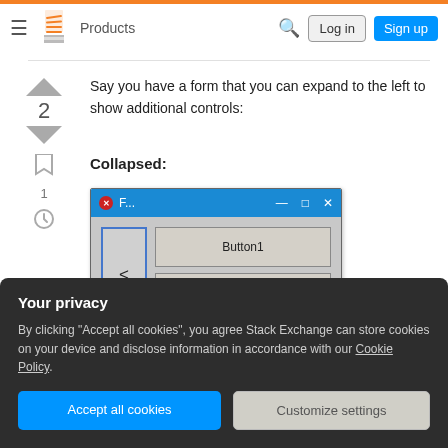Stack Overflow navigation bar with hamburger menu, logo, Products, search, Log in, Sign up
Say you have a form that you can expand to the left to show additional controls:
Collapsed:
[Figure (screenshot): Windows-style form mockup showing a collapsed state with a '<' arrow button on the left and two buttons labeled 'Button1' and 'Button2' on the right, with a blue title bar showing 'F...' and window controls.]
Your privacy
By clicking "Accept all cookies", you agree Stack Exchange can store cookies on your device and disclose information in accordance with our Cookie Policy.
Accept all cookies   Customize settings